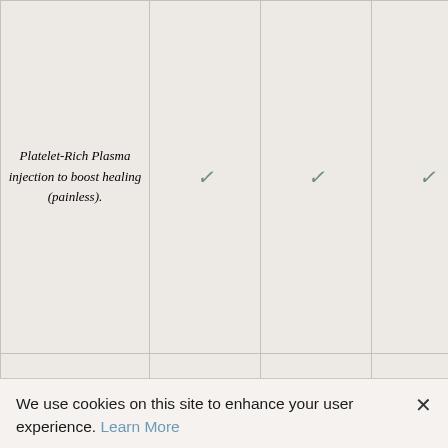| Feature | Package 1 | Package 2 | Package 3 |
| --- | --- | --- | --- |
| Platelet-Rich Plasma injection to boost healing (painless). | ✓ | ✓ | ✓ |
| Lunch Break
A meal at the break during the operation. | ✓ | ✓ | ✓ |
| Wi-Fi (clinic) | ✓ | ✓ | ✓ |
We use cookies on this site to enhance your user experience. Learn More